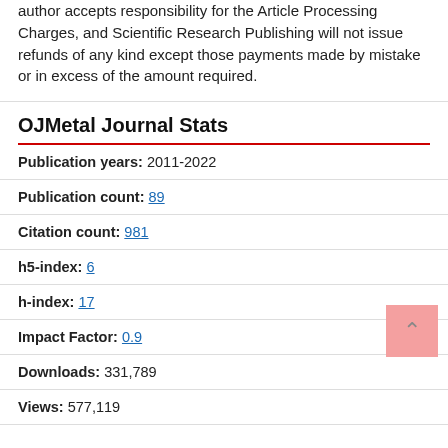author accepts responsibility for the Article Processing Charges, and Scientific Research Publishing will not issue refunds of any kind except those payments made by mistake or in excess of the amount required.
OJMetal Journal Stats
| Stat | Value |
| --- | --- |
| Publication years: | 2011-2022 |
| Publication count: | 89 |
| Citation count: | 981 |
| h5-index: | 6 |
| h-index: | 17 |
| Impact Factor: | 0.9 |
| Downloads: | 331,789 |
| Views: | 577,119 |